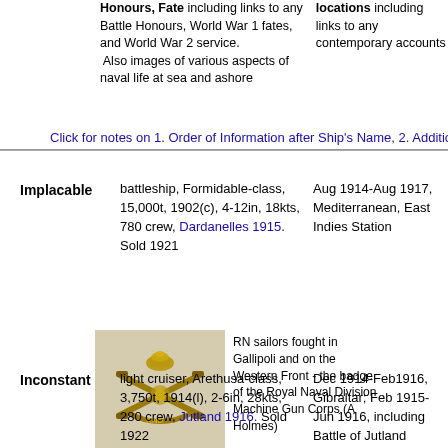Honours, Fate including links to any Battle Honours, World War 1 fates, and World War 2 service. Also images of various aspects of naval life at sea and ashore
locations including links to any contemporary accounts
Click for notes on 1. Order of Information after Ship's Name, 2. Additional A
Implacable   battleship, Formidable-class, 15,000t, 1902(c), 4-12in, 18kts, 780 crew, Dardanelles 1915. Sold 1921   Aug 1914-Aug 1917, Mediterranean, East Indies Station
[Figure (photo): Badge of the Royal Naval Division Machine Gun Corps (A Holmes) - gold crossed rifles with crown and RND lettering]
RN sailors fought in Gallipoli and on the Western Front - the badge of the Royal Naval Division Machine Gun Corps (A Holmes)
Inconstant   light cruiser, Arethusa-class, 3,750t, 1914(l), 2-6in, 28kts, 280 crew, Jutland 1916. Sold 1922   Dec 1914-Feb1916, Gibraltar; Feb 1915-Jun 1916, including Battle of Jutland